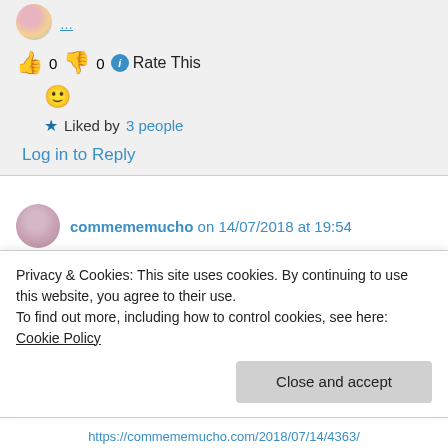👍 0 👎 0 ℹ Rate This
🙂
★ Liked by 3 people
Log in to Reply
commememucho on 14/07/2018 at 19:54
👍 0 👎 0 ℹ Rate This
Privacy & Cookies: This site uses cookies. By continuing to use this website, you agree to their use.
To find out more, including how to control cookies, see here: Cookie Policy
Close and accept
https://commememucho.com/2018/07/14/4363/